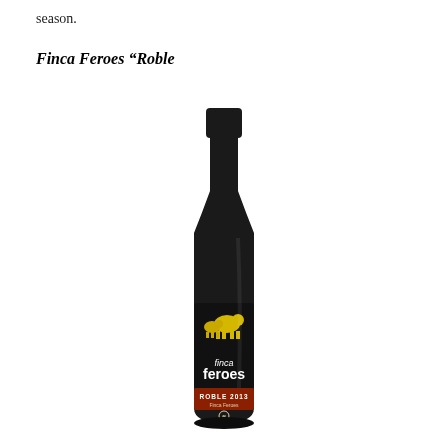season.
Finca Feroes “Roble
[Figure (photo): A wine bottle with a black label showing a yellow sheep/bull illustration and the text 'finca feroes' in white, with a red band at the bottom reading 'ROBLE 2013 Finca Feroes' with a circular logo. The bottle has a dark cap and dark glass.]